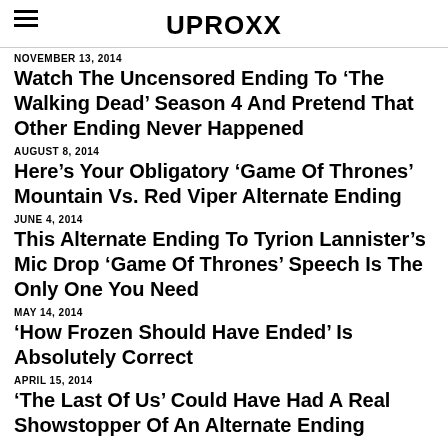UPROXX
NOVEMBER 13, 2014
Watch The Uncensored Ending To ‘The Walking Dead’ Season 4 And Pretend That Other Ending Never Happened
AUGUST 8, 2014
Here’s Your Obligatory ‘Game Of Thrones’ Mountain Vs. Red Viper Alternate Ending
JUNE 4, 2014
This Alternate Ending To Tyrion Lannister’s Mic Drop ‘Game Of Thrones’ Speech Is The Only One You Need
MAY 14, 2014
‘How Frozen Should Have Ended’ Is Absolutely Correct
APRIL 15, 2014
‘The Last Of Us’ Could Have Had A Real Showstopper Of An Alternate Ending